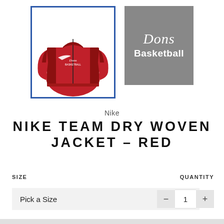[Figure (photo): Red Nike team dry woven jacket with white Nike logo and 'Dons' text on chest, shown on white background, inside blue border frame]
[Figure (logo): Gray square logo with white italic 'Dons' text and bold 'Basketball' text below]
Nike
NIKE TEAM DRY WOVEN JACKET - RED
SIZE
QUANTITY
Pick a Size
1